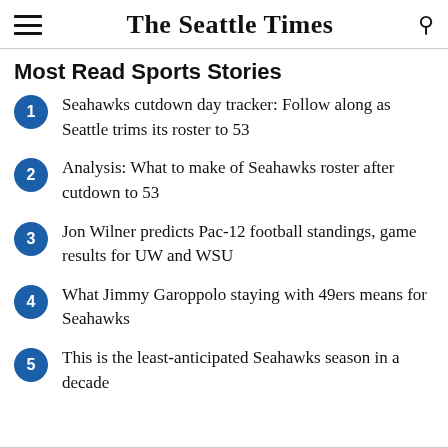The Seattle Times
Most Read Sports Stories
Seahawks cutdown day tracker: Follow along as Seattle trims its roster to 53
Analysis: What to make of Seahawks roster after cutdown to 53
Jon Wilner predicts Pac-12 football standings, game results for UW and WSU
What Jimmy Garoppolo staying with 49ers means for Seahawks
This is the least-anticipated Seahawks season in a decade